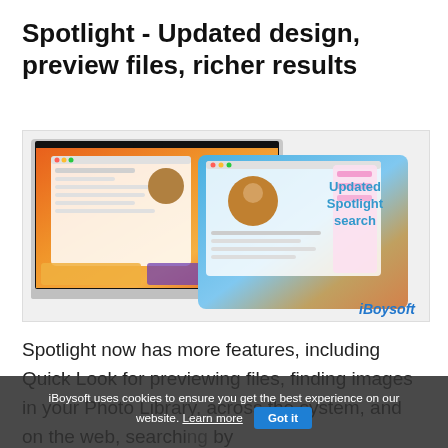Spotlight - Updated design, preview files, richer results
[Figure (screenshot): Screenshot of macOS Ventura with updated Spotlight search shown on a MacBook and iPad, with 'Updated Spotlight search' label and 'iBoysoft' watermark]
Spotlight now has more features, including Quick Look for previewing files, finding images in your Photo Library, across the system, and on the web, searching by
iBoysoft uses cookies to ensure you get the best experience on our website. Learn more  Got it